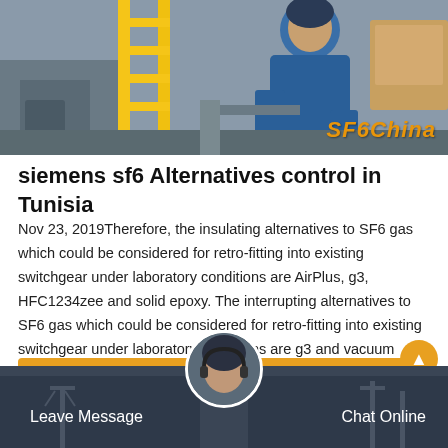[Figure (photo): Photo of a worker in blue coveralls near a yellow ladder in an industrial setting. SF6China watermark in orange italic text at bottom right.]
siemens sf6 Alternatives control in Tunisia
Nov 23, 2019Therefore, the insulating alternatives to SF6 gas which could be considered for retro-fitting into existing switchgear under laboratory conditions are AirPlus, g3, HFC1234zee and solid epoxy. The interrupting alternatives to SF6 gas which could be considered for retro-fitting into existing switchgear under laboratory conditions are g3 and vacuum technology.
Get Price
[Figure (photo): Dark industrial background with electrical equipment. Avatar of customer service representative with headset in center circle. 'Leave Message' on left, 'Chat Online' on right.]